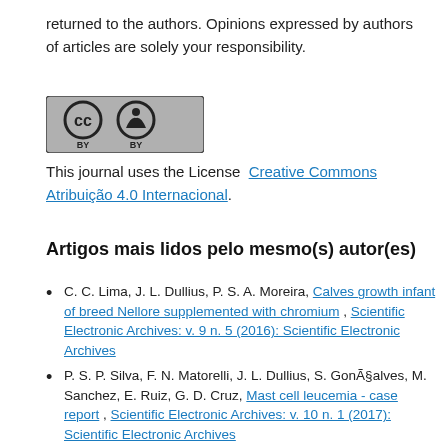returned to the authors. Opinions expressed by authors of articles are solely your responsibility.
[Figure (logo): Creative Commons BY license logo — circular CC symbol and person silhouette icon on grey background with 'BY' text beneath]
This journal uses the License  Creative Commons Atribuição 4.0 Internacional.
Artigos mais lidos pelo mesmo(s) autor(es)
C. C. Lima, J. L. Dullius, P. S. A. Moreira, Calves growth infant of breed Nellore supplemented with chromium , Scientific Electronic Archives: v. 9 n. 5 (2016): Scientific Electronic Archives
P. S. P. Silva, F. N. Matorelli, J. L. Dullius, S. GonÃ§alves, M. Sanchez, E. Ruiz, G. D. Cruz, Mast cell leucemia - case report , Scientific Electronic Archives: v. 10 n. 1 (2017): Scientific Electronic Archives